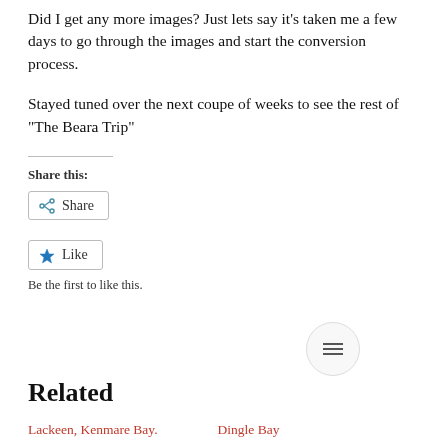Did I get any more images? Just lets say it’s taken me a few days to go through the images and start the conversion process.
Stayed tuned over the next coupe of weeks to see the rest of “The Beara Trip”
Share this:
Share
Like
Be the first to like this.
Related
Lackeen, Kenmare Bay.
Dingle Bay